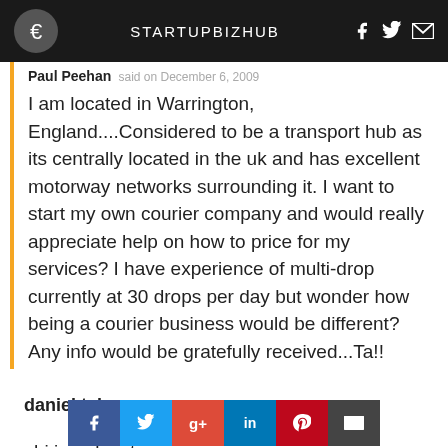STARTUPBIZHUB
Paul Peehan said on December 6, 2009
I am located in Warrington, England....Considered to be a transport hub as its centrally located in the uk and has excellent motorway networks surrounding it. I want to start my own courier company and would really appreciate help on how to price for my services? I have experience of multi-drop currently at 30 drops per day but wonder how being a courier business would be different? Any info would be gratefully received...Ta!!
daniel tshazo said on December 8, 2009
hi i am located … Gauteng south